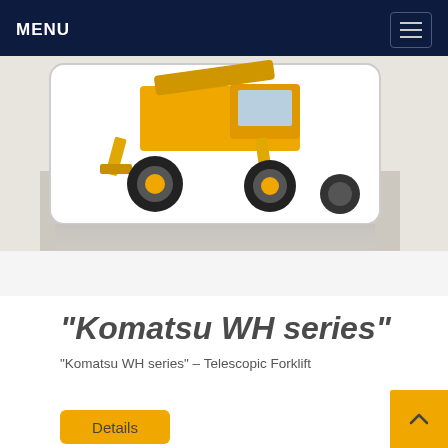MENU
[Figure (photo): Komatsu WH series telescopic forklift machine, yellow, photographed from front-left angle showing stabilizer legs and large tires, with reflection below on white surface]
“Komatsu WH series”
“Komatsu WH series” – Telescopic Forklift
Details